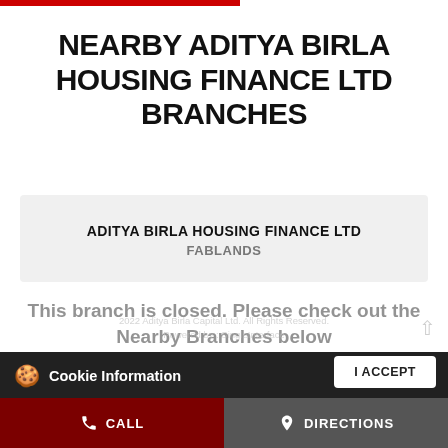NEARBY ADITYA BIRLA HOUSING FINANCE LTD BRANCHES
ADITYA BIRLA HOUSING FINANCE LTD
FABLANDS
This branch is closed. Please check out the Nearby Branches below
2022 Aditya Birla Capital Ltd. All Rights Reserved.
Powered by : SingleInterface
Cookie Information
On our website, we use services (including from third-party providers) that help us to improve our online presence (optimization of website) and to display content that is geared to their interests. We need your consent before being able to use these services.
I ACCEPT
CALL
DIRECTIONS